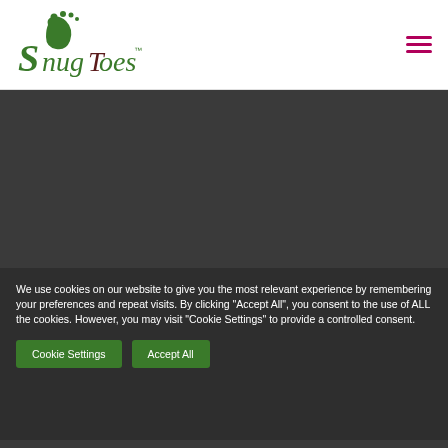[Figure (logo): SnugToes logo with green footprint icon and stylized text in green and dark red]
[Figure (illustration): Hamburger menu icon with three horizontal pink/magenta lines]
[Figure (photo): Dark gray hero image banner area]
We use cookies on our website to give you the most relevant experience by remembering your preferences and repeat visits. By clicking "Accept All", you consent to the use of ALL the cookies. However, you may visit "Cookie Settings" to provide a controlled consent.
Cookie Settings
Accept All